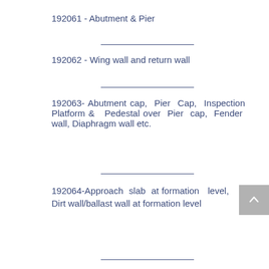192061 - Abutment & Pier
192062 - Wing wall and return wall
192063- Abutment cap, Pier Cap, Inspection Platform & Pedestal over Pier cap, Fender wall, Diaphragm wall etc.
192064-Approach slab at formation level, Dirt wall/ballast wall at formation level